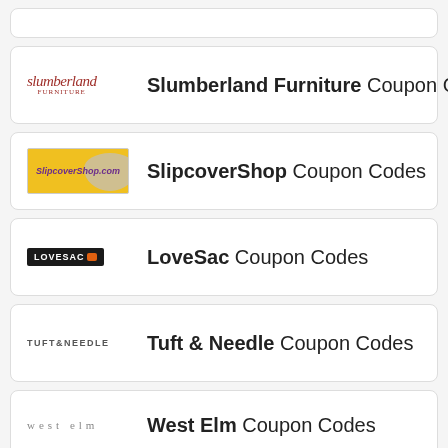Slumberland Furniture Coupon Codes
SlipcoverShop Coupon Codes
LoveSac Coupon Codes
Tuft & Needle Coupon Codes
West Elm Coupon Codes